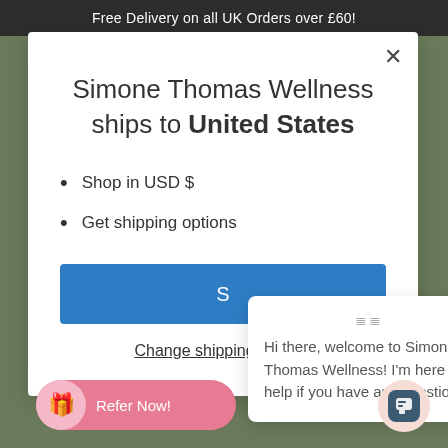Free Delivery on all UK Orders over £60!
Simone Thomas Wellness ships to United States
Shop in USD $
Get shipping options
S
Change shipping country
Hi there, welcome to Simone Thomas Wellness! I'm here to help if you have any questions!
Refer Now!